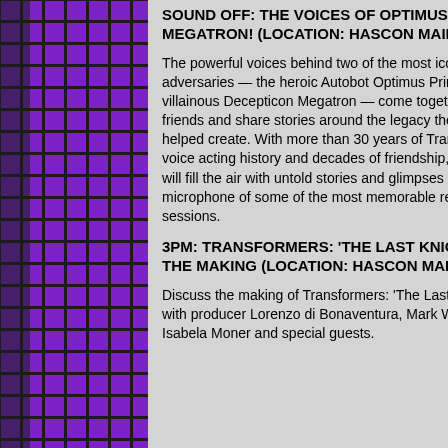[Figure (other): Purple grid/tile pattern background on left side and right side of page, with dark borders between tiles]
SOUND OFF: THE VOICES OF OPTIMUS PRIME & MEGATRON! (LOCATION: HASCON MAIN STAGE)
The powerful voices behind two of the most iconic adversaries — the heroic Autobot Optimus Prime and villainous Decepticon Megatron — come together as friends and share stories around the legacy they have helped create. With more than 30 years of Transformers voice acting history and decades of friendship, these two will fill the air with untold stories and glimpses behind the microphone of some of the most memorable recording sessions.
3PM: TRANSFORMERS: 'THE LAST KNIGHT' IN THE MAKING (LOCATION: HASCON MAIN STAGE)
Discuss the making of Transformers: 'The Last Knight' with producer Lorenzo di Bonaventura, Mark Wahlberg, Isabela Moner and special guests.